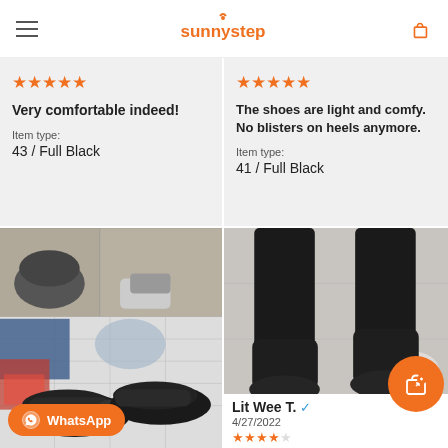sunnystep
★★★★★
Very comfortable indeed!
Item type:
43 / Full Black
★★★★★
The shoes are light and comfy. No blisters on heels anymore.
Item type:
41 / Full Black
[Figure (photo): Black slip-on shoes on a tiled surface with other shoes in background, cluttered entryway]
WhatsApp
[Figure (photo): Person wearing black boots/shoes standing on a tiled floor, photographed from knee down]
Lit Wee T. ✓
4/27/2022
★★★★☆